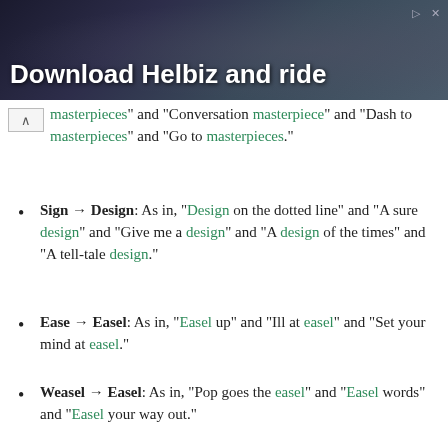[Figure (photo): Advertisement banner with person holding camera equipment, text 'Download Helbiz and ride']
masterpieces" and "Conversation masterpiece" and "Dash to masterpieces" and "Go to masterpieces."
Sign → Design: As in, "Design on the dotted line" and "A sure design" and "Give me a design" and "A design of the times" and "A tell-tale design."
Ease → Easel: As in, "Easel up" and "Ill at easel" and "Set your mind at easel."
Weasel → Easel: As in, "Pop goes the easel" and "Easel words" and "Easel your way out."
Mark → Marker: As in, "Close to the marker" and "Make your marker" and "Quick off the marker."
Render: A rendering is a type of drawing or visual representation. Here are related puns: